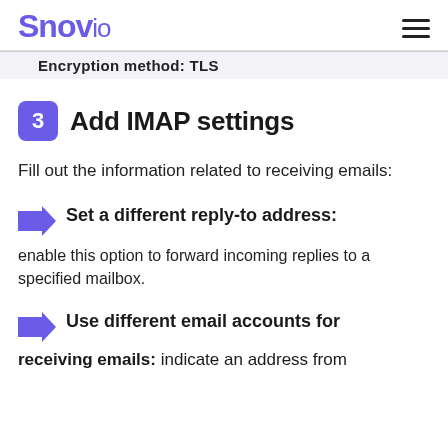Snov.io
Encryption method: TLS
3 Add IMAP settings
Fill out the information related to receiving emails:
Set a different reply-to address: enable this option to forward incoming replies to a specified mailbox.
Use different email accounts for receiving emails: indicate an address from